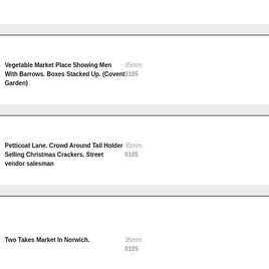[Figure (photo): Vegetable market photograph (top, partially visible)]
Vegetable Market Place Showing Men With Barrows. Boxes Stacked Up. (Covent Garden)
35mm
0105
[Figure (photo): Petticoat Lane market photograph]
Petticoat Lane. Crowd Around Tall Holder Selling Christmas Crackers. Street vendor salesman
35mm
0105
[Figure (photo): Norwich market photograph]
Two Takes Market In Norwich.
35mm
0105